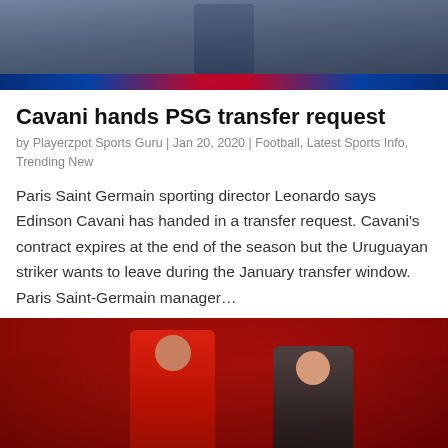[Figure (photo): Top photo showing a PSG football player from behind, wearing dark blue PSG kit with striped background]
Cavani hands PSG transfer request
by Playerzpot Sports Guru | Jan 20, 2020 | Football, Latest Sports Info, Trending New
Paris Saint Germain sporting director Leonardo says Edinson Cavani has handed in a transfer request. Cavani's contract expires at the end of the season but the Uruguayan striker wants to leave during the January transfer window. Paris Saint-Germain manager…
[Figure (photo): Bottom photo showing two Manchester United footballers on the pitch — one in red kit (Ashley Young) and one in black jacket (Ole Gunnar Solskjaer), with a red crowd background]